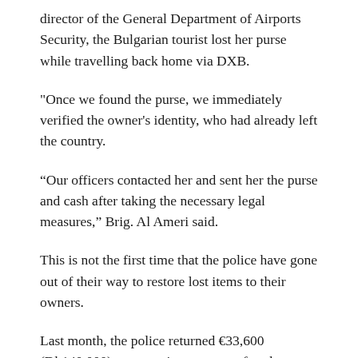director of the General Department of Airports Security, the Bulgarian tourist lost her purse while travelling back home via DXB.
"Once we found the purse, we immediately verified the owner's identity, who had already left the country.
“Our officers contacted her and sent her the purse and cash after taking the necessary legal measures,” Brig. Al Ameri said.
This is not the first time that the police have gone out of their way to restore lost items to their owners.
Last month, the police returned €33,600 (Dh140,000) to a transit passenger after the man lost the cash during his outbound journey via DXB.
Siegfried Tellbach, a German national, was overwhelmed with joy on getting back his cash, especially since he was not